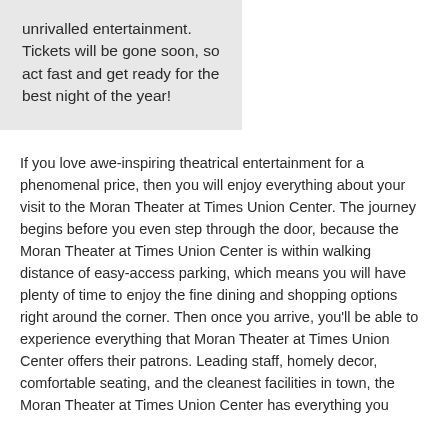unrivalled entertainment. Tickets will be gone soon, so act fast and get ready for the best night of the year!
If you love awe-inspiring theatrical entertainment for a phenomenal price, then you will enjoy everything about your visit to the Moran Theater at Times Union Center. The journey begins before you even step through the door, because the Moran Theater at Times Union Center is within walking distance of easy-access parking, which means you will have plenty of time to enjoy the fine dining and shopping options right around the corner. Then once you arrive, you'll be able to experience everything that Moran Theater at Times Union Center offers their patrons. Leading staff, homely decor, comfortable seating, and the cleanest facilities in town, the Moran Theater at Times Union Center has everything you